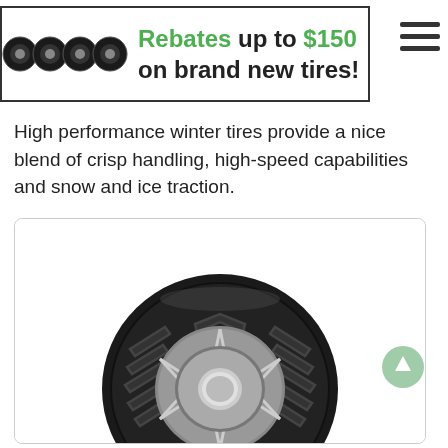[Figure (infographic): Banner advertisement showing four black alloy wheels/tires on the left, with bold text: 'Rebates up to $150 on brand new tires!' A hamburger menu icon appears on the right.]
High performance winter tires provide a nice blend of crisp handling, high-speed capabilities and snow and ice traction.
[Figure (photo): A high-performance winter tire mounted on a chrome multi-spoke alloy wheel, shown at a three-quarter angle against a white background. The tire has a directional V-pattern tread design.]